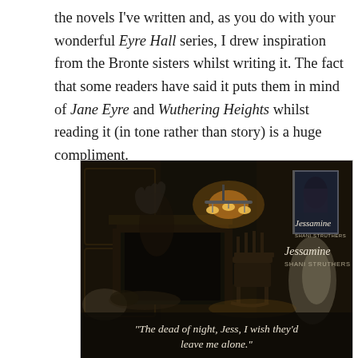the novels I've written and, as you do with your wonderful Eyre Hall series, I drew inspiration from the Bronte sisters whilst writing it. The fact that some readers have said it puts them in mind of Jane Eyre and Wuthering Heights whilst reading it (in tone rather than story) is a huge compliment.
[Figure (photo): Dark atmospheric book promotion image for 'Jessamine' by Shani Struthers. A dimly lit Victorian-style room with shadowy ghostly figures, a rocking chair, chandelier with glowing lights, and a fireplace. A book cover is shown in the upper right corner. Text overlay at the bottom reads: "The dead of night, Jess, I wish they'd leave me alone."]